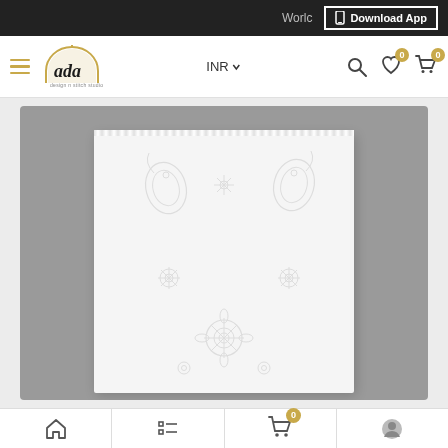Worlc  Download App
[Figure (screenshot): Ada design studio logo with hamburger menu, INR currency selector, search, wishlist and cart icons in navigation bar]
[Figure (photo): White chikankari embroidered fabric panel on grey background, showing floral and paisley embroidery motifs in white thread]
Home | Categories | Cart (0) | Profile